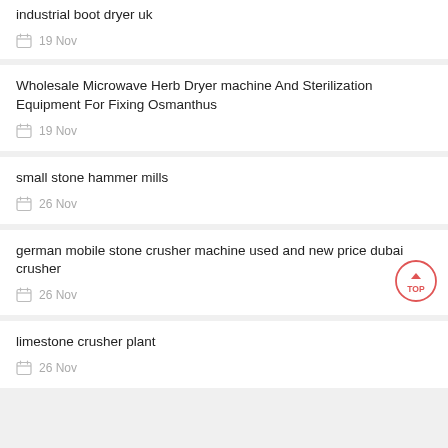industrial boot dryer uk
19 Nov
Wholesale Microwave Herb Dryer machine And Sterilization Equipment For Fixing Osmanthus
19 Nov
small stone hammer mills
26 Nov
german mobile stone crusher machine used and new price dubai crusher
26 Nov
limestone crusher plant
26 Nov